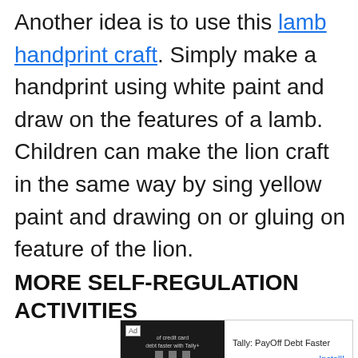Another idea is to use this lamb handprint craft. Simply make a handprint using white paint and draw on the features of a lamb. Children can make the lion craft in the same way by sing yellow paint and drawing on or gluing on feature of the lion.
MORE SELF-REGULATION ACTIVITIES
[Figure (screenshot): Advertisement banner for Tally: PayOff Debt Faster app with an Install button]